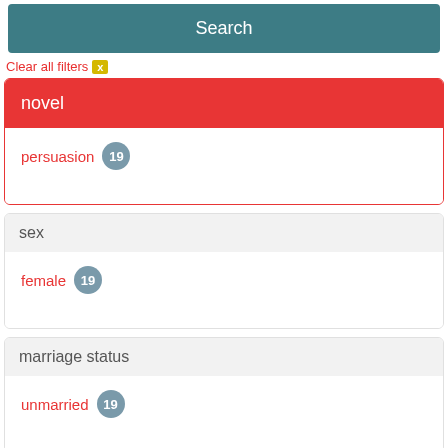Search
Clear all filters x
novel
persuasion 19
sex
female 19
marriage status
unmarried 19